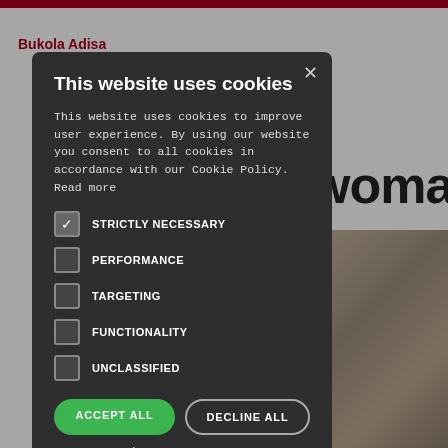Bukola Adisa
[Figure (screenshot): Website page with cookie consent modal overlay. Background shows partial article page with author name 'Bukola Adisa' in red, large text 'woman' and a photo partially visible. A dark modal dialog overlays the page with cookie consent options.]
This website uses cookies
This website uses cookies to improve user experience. By using our website you consent to all cookies in accordance with our Cookie Policy. Read more
STRICTLY NECESSARY
PERFORMANCE
TARGETING
FUNCTIONALITY
UNCLASSIFIED
ACCEPT ALL
DECLINE ALL
SHOW DETAILS